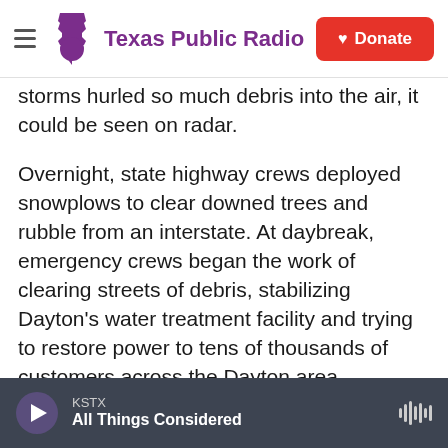Texas Public Radio | Donate
storms hurled so much debris into the air, it could be seen on radar.
Overnight, state highway crews deployed snowplows to clear downed trees and rubble from an interstate. At daybreak, emergency crews began the work of clearing streets of debris, stabilizing Dayton's water treatment facility and trying to restore power to tens of thousands of customers across the Dayton area.
The one reported fatality from the storm occurred when winds blew a parked car into a house. National Weather Service meteorologist Myron
KSTX
All Things Considered